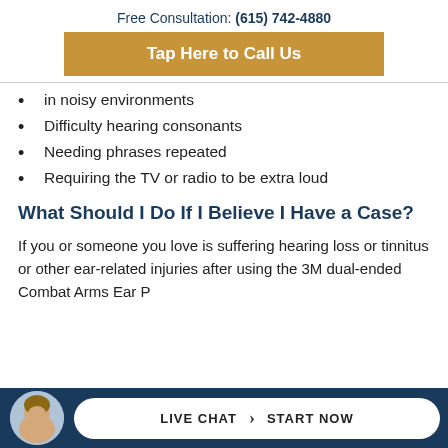Free Consultation: (615) 742-4880
Tap Here to Call Us
in noisy environments
Difficulty hearing consonants
Needing phrases repeated
Requiring the TV or radio to be extra loud
What Should I Do If I Believe I Have a Case?
If you or someone you love is suffering hearing loss or tinnitus or other ear-related injuries after using the 3M dual-ended Combat Arms Ear P...
LIVE CHAT  START NOW